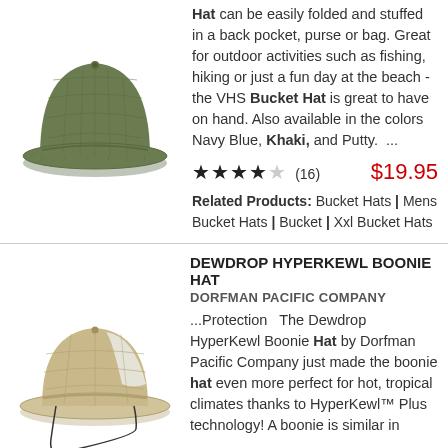[Figure (photo): Green olive bucket hat viewed from slightly above, showing wide brim and crown, on white background]
Hat can be easily folded and stuffed in a back pocket, purse or bag. Great for outdoor activities such as fishing, hiking or just a fun day at the beach - the VHS Bucket Hat is great to have on hand. Also available in the colors Navy Blue, Khaki, and Putty. ...
★★★★☆ (16)   $19.95
Related Products: Bucket Hats | Mens Bucket Hats | Bucket | Xxl Bucket Hats
[Figure (photo): Tan/khaki wide-brim boonie hat with white mesh panel, chin cord with toggle, on white background]
DEWDROP HYPERKEWL BOONIE HAT
DORFMAN PACIFIC COMPANY
...Protection   The Dewdrop HyperKewl Boonie Hat by Dorfman Pacific Company just made the boonie hat even more perfect for hot, tropical climates thanks to HyperKewl™ Plus technology! A boonie is similar in